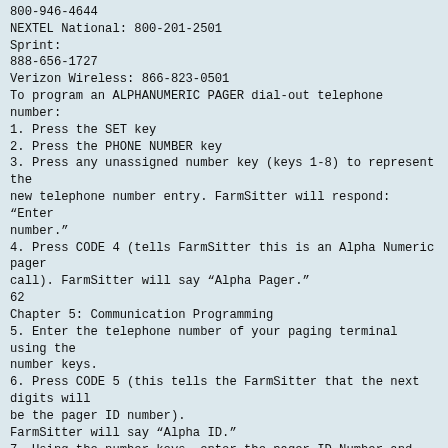800-946-4644
NEXTEL National: 800-201-2501
Sprint:
888-656-1727
Verizon Wireless: 866-823-0501
To program an ALPHANUMERIC PAGER dial-out telephone number:
1. Press the SET key
2. Press the PHONE NUMBER key
3. Press any unassigned number key (keys 1-8) to represent the new telephone number entry. FarmSitter will respond: “Enter number.”
4. Press CODE 4 (tells FarmSitter this is an Alpha Numeric pager call). FarmSitter will say “Alpha Pager.”
62
Chapter 5: Communication Programming
5. Enter the telephone number of your paging terminal using the number keys.
6. Press CODE 5 (this tells the FarmSitter that the next digits will be the pager ID number).
FarmSitter will say “Alpha ID.”
7. Using the number keys, enter the pager ID Number and then press ENTER.
The FarmSitter will say “OK.”
To play back an ALPHANUMERIC PAGER number:
1. Press WHAT IS
2. Press the PHONE NUMBER key